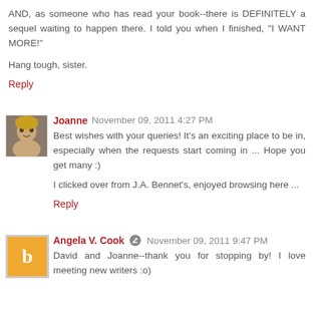AND, as someone who has read your book--there is DEFINITELY a sequel waiting to happen there. I told you when I finished, "I WANT MORE!"
Hang tough, sister.
Reply
Joanne  November 09, 2011 4:27 PM
Best wishes with your queries! It's an exciting place to be in, especially when the requests start coming in ... Hope you get many :)
I clicked over from J.A. Bennet's, enjoyed browsing here ...
Reply
Angela V. Cook  November 09, 2011 9:47 PM
David and Joanne--thank you for stopping by! I love meeting new writers :o)